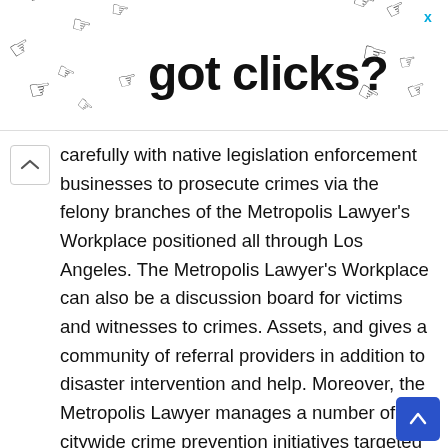[Figure (advertisement): Advertisement banner reading 'got clicks?' with cursor/hand pointer icons scattered around the text on a white background. A close (x) button is in the top right corner in blue.]
carefully with native legislation enforcement businesses to prosecute crimes via the felony branches of the Metropolis Lawyer's Workplace positioned all through Los Angeles. The Metropolis Lawyer's Workplace can also be a discussion board for victims and witnesses to crimes. Assets, and gives a community of referral providers in addition to disaster intervention and help. Moreover, the Metropolis Lawyer manages a number of citywide crime prevention initiatives targeted on preserving high quality of life all through Los Angeles neighborhoods. metropolis legal professional